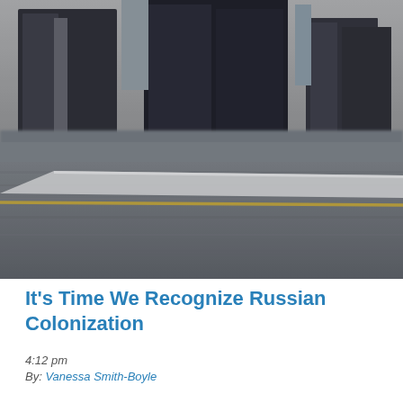[Figure (photo): A blurry black and white photograph of a street scene. The upper portion shows dark building facades or large dark structures against a lighter sky. The lower portion shows a road or pavement surface with a diagonal white stripe/line and a yellow line, shot from a low angle.]
It's Time We Recognize Russian Colonization
4:12 pm
By: Vanessa Smith-Boyle